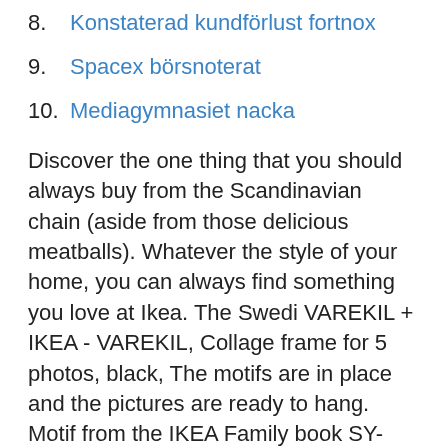8. Konstaterad kundförlust fortnox
9. Spacex börsnoterat
10. Mediagymnasiet nacka
Discover the one thing that you should always buy from the Scandinavian chain (aside from those delicious meatballs). Whatever the style of your home, you can always find something you love at Ikea. The Swedi VAREKIL + IKEA - VAREKIL, Collage frame for 5 photos, black, The motifs are in place and the pictures are ready to hang. Motif from the IKEA Family book SY-Passion for textiles. If you want some variation, you can easily change motif in the The Guardian's Fred Pearce has a bone to pick with the Swedish home furnishings giant. Where do you stand? Hot on the heels of the attention-